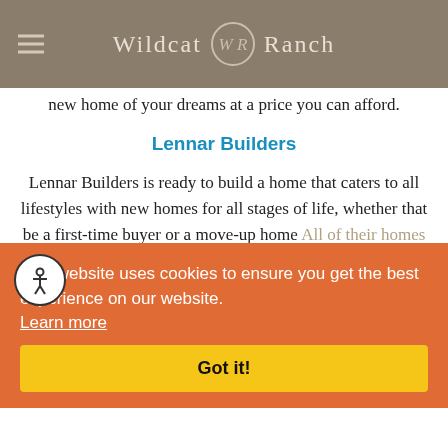Wildcat Ranch
new home of your dreams at a price you can afford.
Lennar Builders
Lennar Builders is ready to build a home that caters to all lifestyles with new homes for all stages of life, whether that be a first-time buyer or a move-up home ... All of their homes incorporate innovative design ... "included" ... n level ... ost of the home. Specifically, Lennar's residences introduce ... designs. The unique process for initially ... buying experience, including every stage, from ... a new home ...
This website uses cookies to ensure you get the best experience on our website. Learn more Got it!